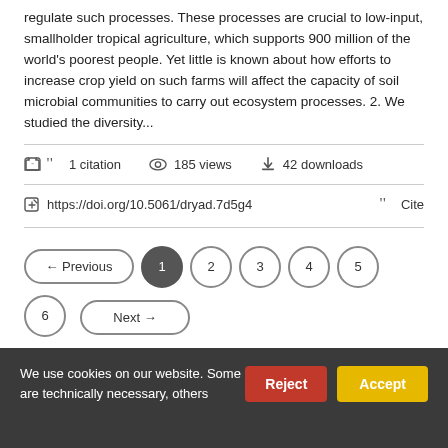regulate such processes. These processes are crucial to low-input, smallholder tropical agriculture, which supports 900 million of the world's poorest people. Yet little is known about how efforts to increase crop yield on such farms will affect the capacity of soil microbial communities to carry out ecosystem processes. 2. We studied the diversity...
1 citation   185 views   42 downloads
https://doi.org/10.5061/dryad.7d5g4   Cite
← Previous  1  2  3  4  5  6  Next →
We use cookies on our website. Some are technically necessary, others